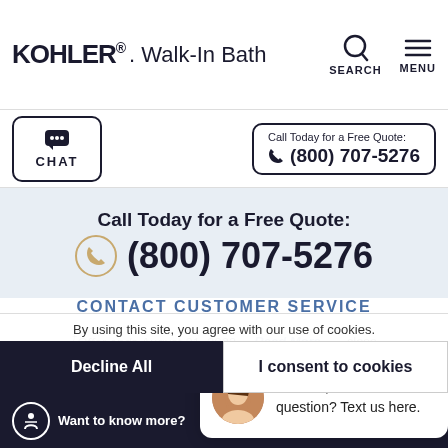KOHLER. Walk-In Bath | SEARCH | MENU
CHAT | Call Today for a Free Quote: (800) 707-5276
Call Today for a Free Quote: (800) 707-5276
CONTACT CUSTOMER SERVICE
†Offer ends August 31, 2022... Read More  close
*By completing the enrollment form or submitting the contact form on this website, you consent to communication, phone or text, from a Kohler representative, even if you are on a "Do Not Call" list). If you wish to unsubscribe from our call lists at this website may be recorded for quality assurance. The "Don't Go" chat
Hi there, have a question? Text us here.
By using this site, you agree with our use of cookies.
Decline All
I consent to cookies
Want to know more?  Read our Cookie Policy
tabases, please complete our Subject Access Request form. †Subject to credit approval. Interest is billed during the promotional